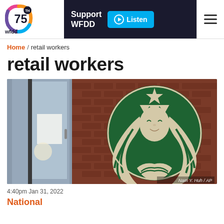WFDD 75th Anniversary | Support WFDD | Listen
Home / retail workers
retail workers
[Figure (photo): Starbucks store exterior with large Starbucks siren logo on a brick wall, with a glass door visible on the left side. Photo credit: Nam Y. Huh / AP]
Nam Y. Huh / AP
4:40pm Jan 31, 2022
National